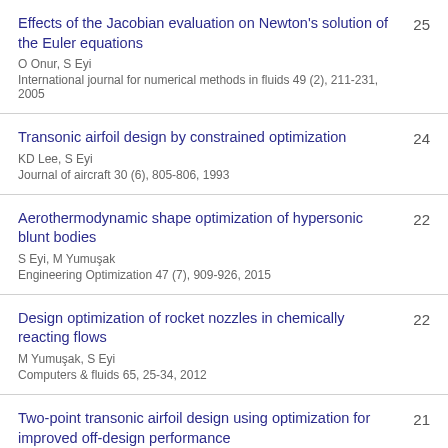Effects of the Jacobian evaluation on Newton's solution of the Euler equations | O Onur, S Eyi | International journal for numerical methods in fluids 49 (2), 211-231, 2005 | 25
Transonic airfoil design by constrained optimization | KD Lee, S Eyi | Journal of aircraft 30 (6), 805-806, 1993 | 24
Aerothermodynamic shape optimization of hypersonic blunt bodies | S Eyi, M Yumuşak | Engineering Optimization 47 (7), 909-926, 2015 | 22
Design optimization of rocket nozzles in chemically reacting flows | M Yumuşak, S Eyi | Computers & fluids 65, 25-34, 2012 | 22
Two-point transonic airfoil design using optimization for improved off-design performance | 21